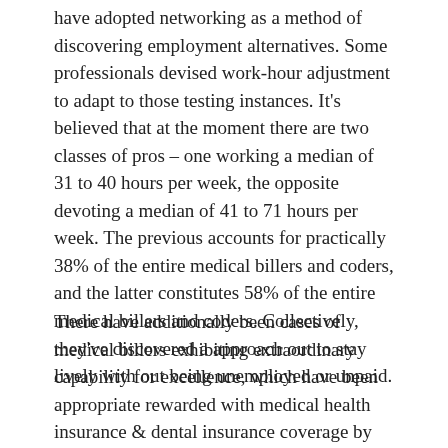have adopted networking as a method of discovering employment alternatives. Some professionals devised work-hour adjustment to adapt to those testing instances. It's believed that at the moment there are two classes of pros – one working a median of 31 to 40 hours per week, the opposite devoting a median of 41 to 71 hours per week. The previous accounts for practically 38% of the entire medical billers and coders, and the latter constitutes 58% of the entire medical billers and coders. Collectively, they've discovered a approach out to stay lively with out being unemployed or unpaid.
There have additionally been cases of medical billers exhibiting extraordinary capability for excellence, which have been appropriate rewarded with medical health insurance & dental insurance coverage by employer, sick go away from employer, and immediate advantages & incentives. Subsequent apt to say that medical billers and coders haven been comforting underneath well being care safety.